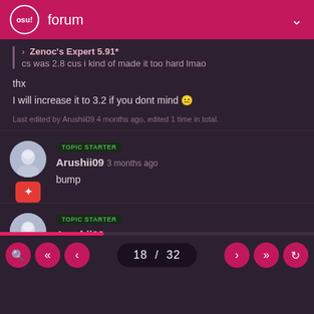osu! forum
> Zenoc's Expert 5.91*
cs was 2.8 cus i kind of made it too hard lmao

thx
I will increase it to 3.2 if you dont mind 🤗

Last edited by Arushii09 4 months ago, edited 1 time in total.
TOPIC STARTER
Arushii09 3 months ago

bump
TOPIC STARTER
Arushii09 3 months ago

bump
18 / 32